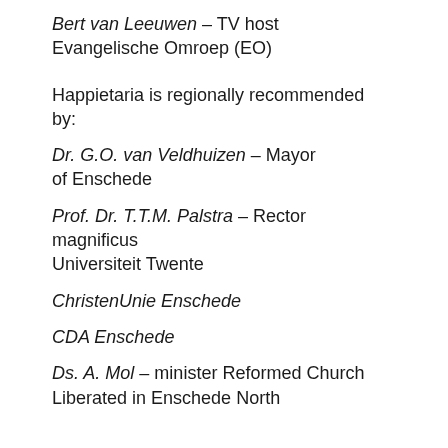Bert van Leeuwen – TV host Evangelische Omroep (EO)
Happietaria is regionally recommended by:
Dr. G.O. van Veldhuizen – Mayor of Enschede
Prof. Dr. T.T.M. Palstra – Rector magnificus Universiteit Twente
ChristenUnie Enschede
CDA Enschede
Ds. A. Mol – minister Reformed Church Liberated in Enschede North